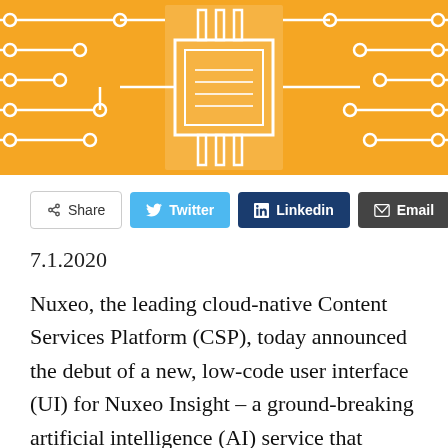[Figure (illustration): Orange circuit board / PCB pattern background image with white circuit traces and a central chip/processor icon]
Share  Twitter  Linkedin  Email
7.1.2020
Nuxeo, the leading cloud-native Content Services Platform (CSP), today announced the debut of a new, low-code user interface (UI) for Nuxeo Insight – a ground-breaking artificial intelligence (AI) service that enables companies to use their own data and content to train